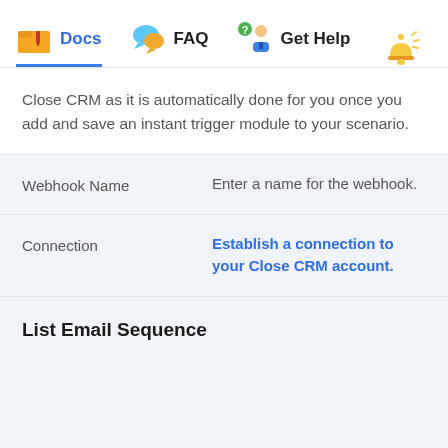Docs  FAQ  Get Help
Close CRM as it is automatically done for you once you add and save an instant trigger module to your scenario.
| Field | Description |
| --- | --- |
| Webhook Name | Enter a name for the webhook. |
| Connection | Establish a connection to your Close CRM account. |
List Email Sequence